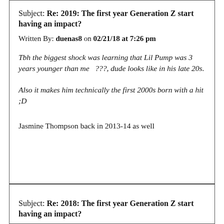Subject: Re: 2019: The first year Generation Z start having an impact?
Written By: duenas8 on 02/21/18 at 7:26 pm
Tbh the biggest shock was learning that Lil Pump was 3 years younger than me  ???, dude looks like in his late 20s.
Also it makes him technically the first 2000s born with a hit ;D
Jasmine Thompson back in 2013-14 as well
Subject: Re: 2018: The first year Generation Z start having an impact?